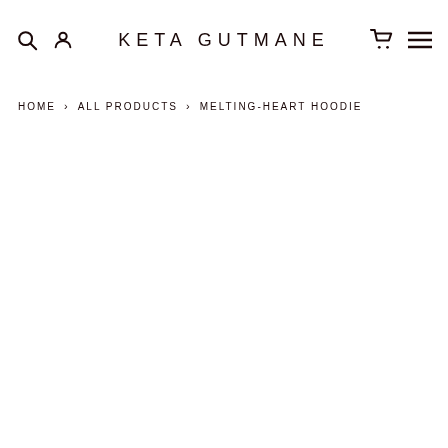KETA GUTMANE
HOME > ALL PRODUCTS > MELTING-HEART HOODIE